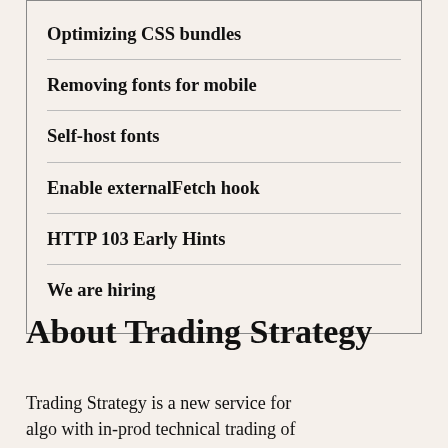Optimizing CSS bundles
Removing fonts for mobile
Self-host fonts
Enable externalFetch hook
HTTP 103 Early Hints
We are hiring
About Trading Strategy
Trading Strategy is a new service for algo with in-prod trading trading of...